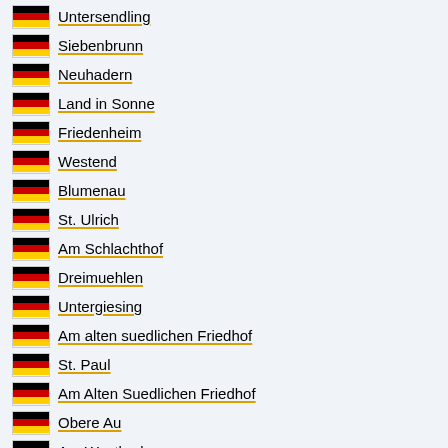Untersendling
Siebenbrunn
Neuhadern
Land in Sonne
Friedenheim
Westend
Blumenau
St. Ulrich
Am Schlachthof
Dreimuehlen
Untergiesing
Am alten suedlichen Friedhof
St. Paul
Am Alten Suedlichen Friedhof
Obere Au
Am Westbad
Ludwigsvorstadt-Kliniken
St. Vinzenz